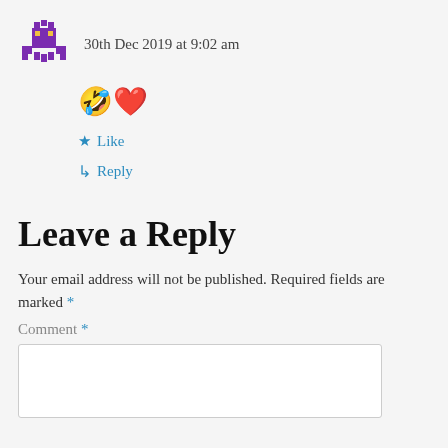30th Dec 2019 at 9:02 am
🤣❤
★ Like
↳ Reply
Leave a Reply
Your email address will not be published. Required fields are marked *
Comment *